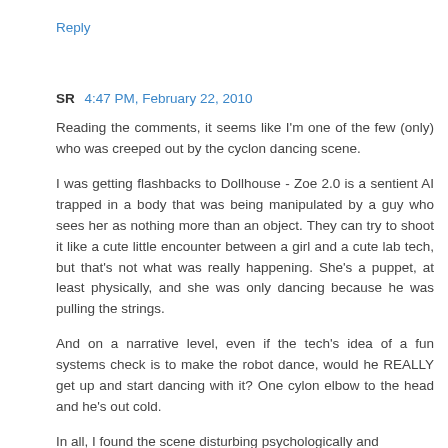Reply
SR  4:47 PM, February 22, 2010
Reading the comments, it seems like I'm one of the few (only) who was creeped out by the cyclon dancing scene.
I was getting flashbacks to Dollhouse - Zoe 2.0 is a sentient AI trapped in a body that was being manipulated by a guy who sees her as nothing more than an object. They can try to shoot it like a cute little encounter between a girl and a cute lab tech, but that's not what was really happening. She's a puppet, at least physically, and she was only dancing because he was pulling the strings.
And on a narrative level, even if the tech's idea of a fun systems check is to make the robot dance, would he REALLY get up and start dancing with it? One cylon elbow to the head and he's out cold.
In all, I found the scene disturbing psychologically and